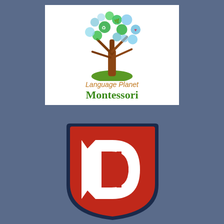[Figure (logo): Language Planet Montessori logo: a tree with icon-filled heart-shaped canopy in green and blue tones, sitting on a green hill, with text 'Language Planet Montessori' below in orange and green]
[Figure (logo): A bold stylized letter 'D' in white on a dark red/crimson shield with rounded corners and dark navy border]